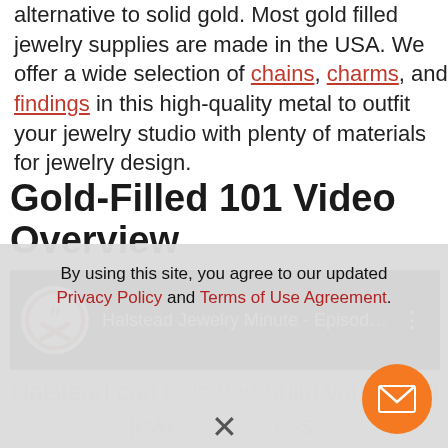alternative to solid gold. Most gold filled jewelry supplies are made in the USA. We offer a wide selection of chains, charms, and findings in this high-quality metal to outfit your jewelry studio with plenty of materials for jewelry design.
Gold-Filled 101 Video Overview
[Figure (screenshot): YouTube video thumbnail showing 'Halstead Jewelry Minute - Episode 3 ...' with Halstead logo on black background]
By using this site, you agree to our updated Privacy Policy and Terms of Use Agreement.
Halstead can help you build your small jewelry business.
[Figure (other): Close (X) dismiss button for cookie/subscribe overlay]
[Figure (other): Orange circular email/message button in bottom right corner]